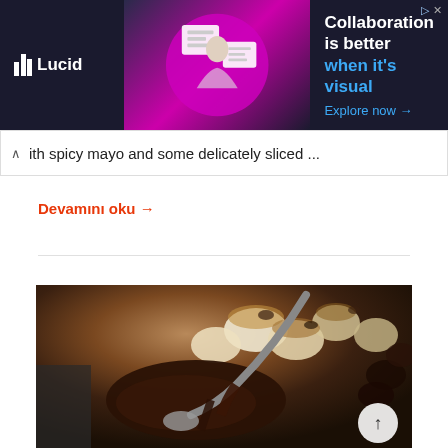[Figure (screenshot): Lucid advertisement banner with dark background showing woman with floating document icons, text reads 'Collaboration is better when it's visual. Explore now →']
ith spicy mayo and some delicately sliced ...
Devamını oku →
[Figure (photo): Close-up food photo showing a skillet or plate with toasted marshmallows, melted chocolate, and a spoon, with burlap fabric in background — appears to be an s'mores style dessert]